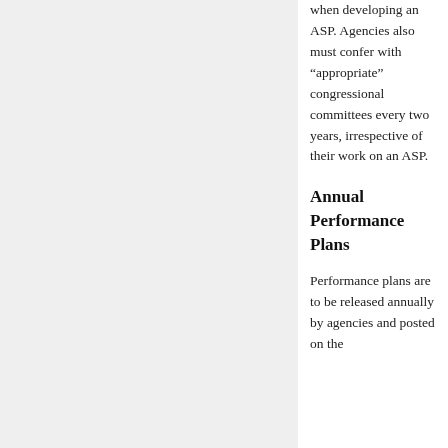when developing an ASP. Agencies also must confer with “appropriate” congressional committees every two years, irrespective of their work on an ASP.
Annual Performance Plans
Performance plans are to be released annually by agencies and posted on the